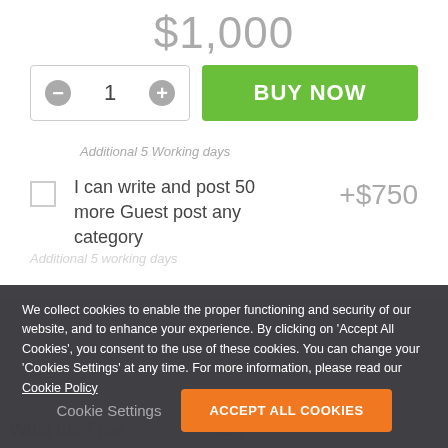$1,000
- 1 +
BUY NOW
Additional 5 Working days
I can write and post 50 more Guest post any category +$750
We collect cookies to enable the proper functioning and security of our website, and to enhance your experience. By clicking on 'Accept All Cookies', you consent to the use of these cookies. You can change your 'Cookies Settings' at any time. For more information, please read our Cookie Policy
Cookie Settings
ACCEPT ALL COOKIES